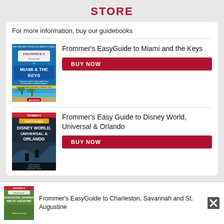STORE
For more information, buy our guidebooks
[Figure (illustration): Book cover: Frommer's EasyGuide to Miami & The Keys, blue cover with beach scene]
Frommer's EasyGuide to Miami and the Keys
BUY NOW
[Figure (illustration): Book cover: Frommer's Easy Guide to Disney World, Universal & Orlando, dark cover with theme park ride]
Frommer's Easy Guide to Disney World, Universal & Orlando
BUY NOW
[Figure (illustration): Book cover: Frommer's EasyGuide to Charleston, Savannah and St. Augustine, green cover]
Frommer's EasyGuide to Charleston, Savannah and St. Augustine